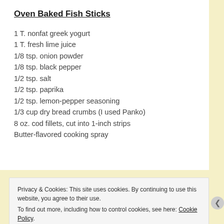Oven Baked Fish Sticks
1 T. nonfat greek yogurt
1 T. fresh lime juice
1/8 tsp. onion powder
1/8 tsp. black pepper
1/2 tsp. salt
1/2 tsp. paprika
1/2 tsp. lemon-pepper seasoning
1/3 cup dry bread crumbs (I used Panko)
8 oz. cod fillets, cut into 1-inch strips
Butter-flavored cooking spray
Privacy & Cookies: This site uses cookies. By continuing to use this website, you agree to their use. To find out more, including how to control cookies, see here: Cookie Policy
Close and accept